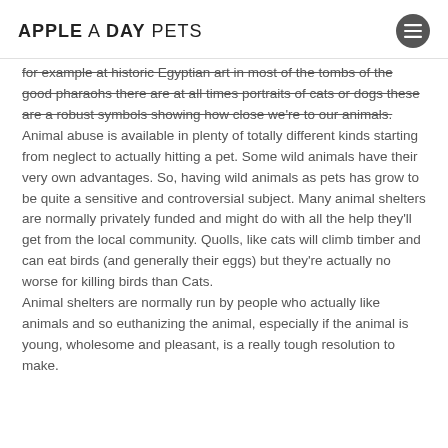APPLE A DAY PETS
for example at historic Egyptian art in most of the tombs of the good pharaohs there are at all times portraits of cats or dogs these are a robust symbols showing how close we're to our animals. Animal abuse is available in plenty of totally different kinds starting from neglect to actually hitting a pet. Some wild animals have their very own advantages. So, having wild animals as pets has grow to be quite a sensitive and controversial subject. Many animal shelters are normally privately funded and might do with all the help they'll get from the local community. Quolls, like cats will climb timber and can eat birds (and generally their eggs) but they're actually no worse for killing birds than Cats. Animal shelters are normally run by people who actually like animals and so euthanizing the animal, especially if the animal is young, wholesome and pleasant, is a really tough resolution to make.